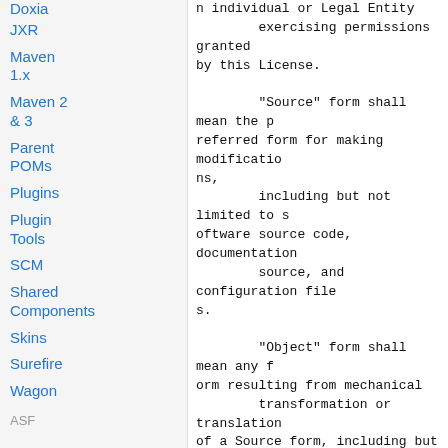Doxia
JXR
Maven 1.x
Maven 2 & 3
Parent POMs
Plugins
Plugin Tools
SCM
Shared Components
Skins
Surefire
Wagon
ASF
n individual or Legal Entity
        exercising permissions granted
    by this License.

        "Source" form shall mean the p
    referred form for making modificatio
    ns,
        including but not limited to s
    oftware source code, documentation
        source, and configuration file
    s.

        "Object" form shall mean any f
    orm resulting from mechanical
        transformation or translation
    of a Source form, including but
        not limited to compiled object
    code, generated documentation,
        and conversions to other media
    types.

        "Work" shall mean the work of
    authorship, whether in Source or